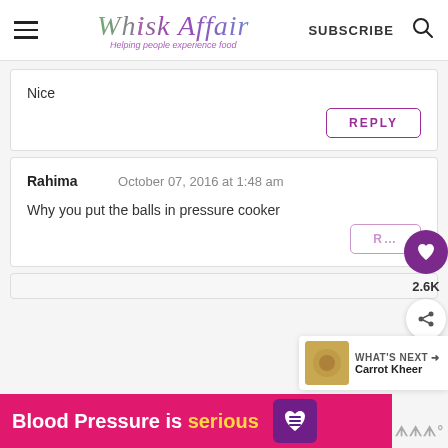Whisk Affair — Helping people experience food | SUBSCRIBE
Nice
REPLY
Rahima   October 07, 2016 at 1:48 am
Why you put the balls in pressure cooker
WHAT'S NEXT → Carrot Kheer
[Figure (infographic): Blood Pressure is serious ad banner with heart icon in pink/red]
2.6K